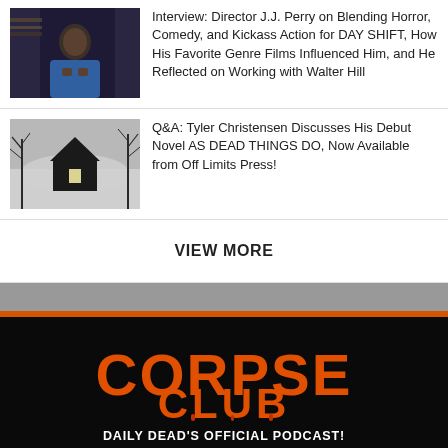[Figure (photo): Man in blue hoodie leaning forward, dark moody background]
Interview: Director J.J. Perry on Blending Horror, Comedy, and Kickass Action for DAY SHIFT, How His Favorite Genre Films Influenced Him, and He Reflected on Working with Walter Hill
[Figure (illustration): Dark house silhouette with bare trees in foggy, eerie black and white scene]
Q&A: Tyler Christensen Discusses His Debut Novel AS DEAD THINGS DO, Now Available from Off Limits Press!
VIEW MORE
[Figure (logo): CORPSE CLUB logo in orange distressed horror font on black background]
DAILY DEAD'S OFFICIAL PODCAST!
[Figure (screenshot): Podcast episode thumbnail with purple/blue dark background]